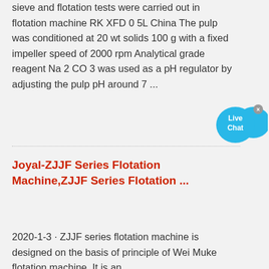sieve and flotation tests were carried out in flotation machine RK XFD 0 5L China The pulp was conditioned at 20 wt solids 100 g with a fixed impeller speed of 2000 rpm Analytical grade reagent Na 2 CO 3 was used as a pH regulator by adjusting the pulp pH around 7 ...
[Figure (other): Live Chat button bubble in cyan/blue color with close (x) button]
Joyal-ZJJF Series Flotation Machine,ZJJF Series Flotation ...
2020-1-3 · ZJJF series flotation machine is designed on the basis of principle of Wei Muke flotation machine. It is an